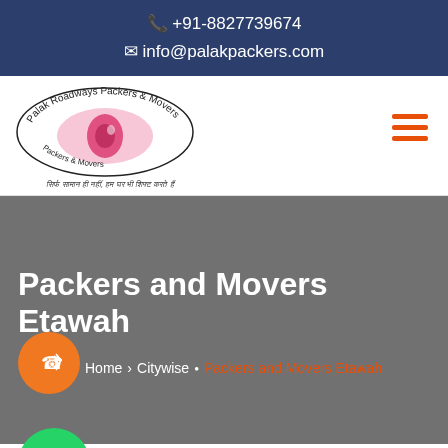📞 +91-8827739674
✉ info@palakpackers.com
[Figure (logo): Palak Roadways Packers & Movers logo with eye graphic and Hindi tagline]
Packers and Movers Etawah
Home • Citywise • Packers and Movers Etawah